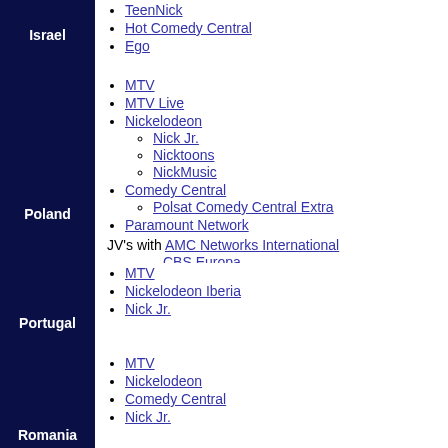Israel — TeenNick, Hot Comedy Central, Ego
Poland — MTV, MTV Live, Nickelodeon (Nick Jr., Nicktoons, NickMusic), Comedy Central (Polsat Comedy Central Extra), Paramount Network; JV's with AMC Networks International: CBS Europa, CBS Reality
Portugal — MTV, Nickelodeon Iberia, Nick Jr.
Romania — MTV, Nickelodeon, Comedy Central, Nick Jr.